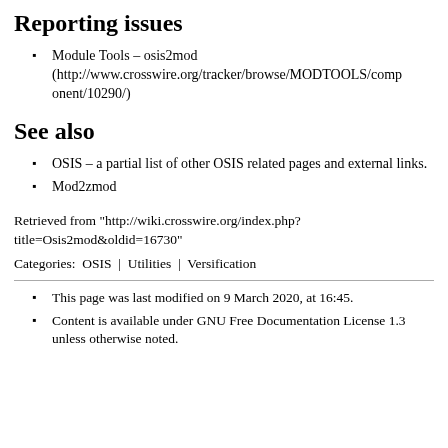Reporting issues
Module Tools – osis2mod (http://www.crosswire.org/tracker/browse/MODTOOLS/component/10290/)
See also
OSIS – a partial list of other OSIS related pages and external links.
Mod2zmod
Retrieved from "http://wiki.crosswire.org/index.php?title=Osis2mod&oldid=16730"
Categories:  OSIS | Utilities | Versification
This page was last modified on 9 March 2020, at 16:45.
Content is available under GNU Free Documentation License 1.3 unless otherwise noted.